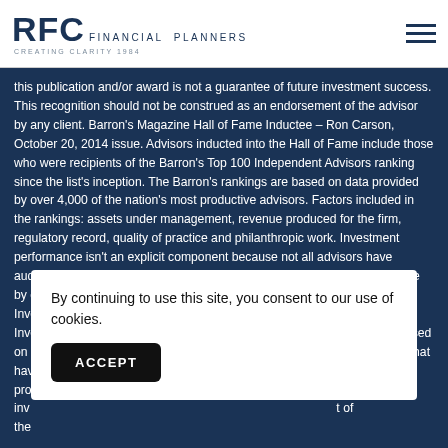RFC FINANCIAL PLANNERS
this publication and/or award is not a guarantee of future investment success. This recognition should not be construed as an endorsement of the advisor by any client. Barron's Magazine Hall of Fame Inductee – Ron Carson, October 20, 2014 issue. Advisors inducted into the Hall of Fame include those who were recipients of the Barron's Top 100 Independent Advisors ranking since the list's inception. The Barron's rankings are based on data provided by over 4,000 of the nation's most productive advisors. Factors included in the rankings: assets under management, revenue produced for the firm, regulatory record, quality of practice and philanthropic work. Investment performance isn't an explicit component because not all advisors have audited results and because performance figures often are influenced more by clients' risk tolerance than by an advisor's investment-picking abilities. Investment News Icons & Innovators: Awarded to Ron Carson (2016) Investment News Icons and Innovators award recipients were selected based on the broad definition of those who have conceived new ideas and tools that have pro…e inv…t of the…
By continuing to use this site, you consent to our use of cookies.
ACCEPT